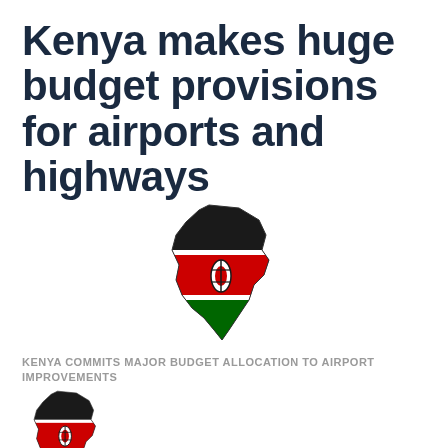Kenya makes huge budget provisions for airports and highways
[Figure (illustration): Kenya map shaped like the country filled with the Kenyan flag colors — black top, red middle with white borders, green bottom, and a Maasai shield in the center]
KENYA COMMITS MAJOR BUDGET ALLOCATION TO AIRPORT IMPROVEMENTS
[Figure (illustration): Smaller Kenya map shaped like the country filled with the Kenyan flag colors — black top, red middle with white borders, green bottom, and a Maasai shield in the center]